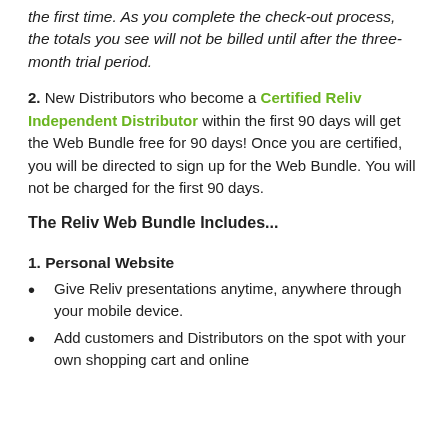the first time. As you complete the check-out process, the totals you see will not be billed until after the three-month trial period.
2. New Distributors who become a Certified Reliv Independent Distributor within the first 90 days will get the Web Bundle free for 90 days! Once you are certified, you will be directed to sign up for the Web Bundle. You will not be charged for the first 90 days.
The Reliv Web Bundle Includes...
1. Personal Website
Give Reliv presentations anytime, anywhere through your mobile device.
Add customers and Distributors on the spot with your own shopping cart and online